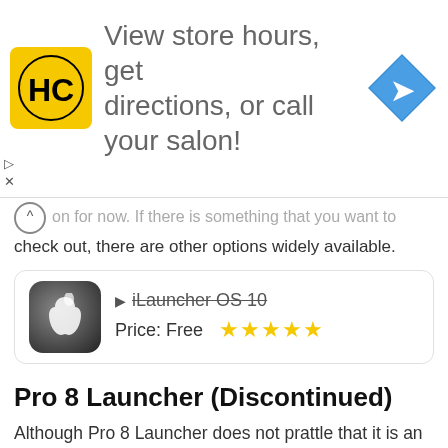[Figure (infographic): Advertisement banner with HC logo (Hair Club), text 'View store hours, get directions, or call your salon!', and a blue navigation arrow icon]
on for now. If there is something that you want to check out, there are other options widely available.
[Figure (infographic): App card showing iLauncher OS 10 with Apple logo icon, strikethrough title text, Price: Free, and 5 star rating]
Pro 8 Launcher (Discontinued)
Although Pro 8 Launcher does not prattle that it is an iOS Launcher that intends to replace your current Android home screen with a decorated iPhone-like interface, you will definitely notice some traits that will make you believe otherwise.
Starting off, there is a beautiful lock screen present that